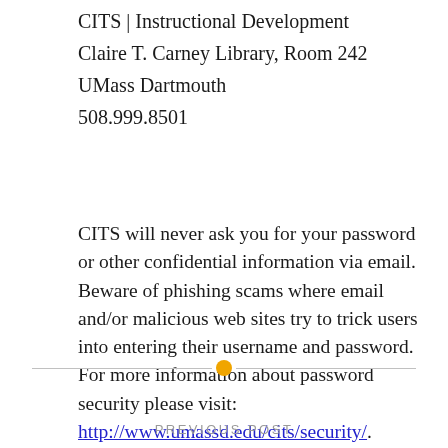CITS | Instructional Development
Claire T. Carney Library, Room 242
UMass Dartmouth
508.999.8501
CITS will never ask you for your password or other confidential information via email. Beware of phishing scams where email and/or malicious web sites try to trick users into entering their username and password. For more information about password security please visit: http://www.umassd.edu/cits/security/.
PREVIOUS POST